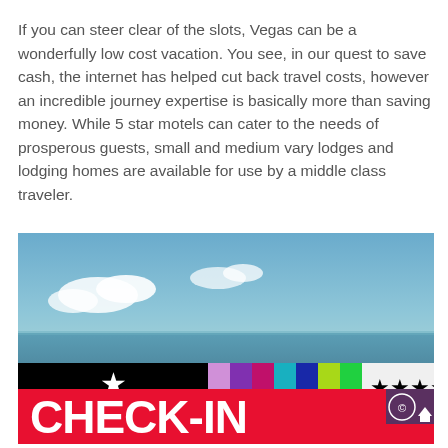If you can steer clear of the slots, Vegas can be a wonderfully low cost vacation. You see, in our quest to save cash, the internet has helped cut back travel costs, however an incredible journey expertise is basically more than saving money. While 5 star motels can cater to the needs of prosperous guests, small and medium vary lodges and lodging homes are available for use by a middle class traveler.
[Figure (illustration): A composite image showing a travel/vacation scene. Top portion: a scenic sky and ocean/sea view with clouds. Middle strip: a black bar with a white star on the left, followed by a row of colored vertical bars (purple, magenta, teal, blue, yellow-green, green, orange), then black stars (4 stars) on the right. Bottom: a bold red banner with large white text reading 'CHECK-IN' with a small circled logo in the top right corner.]